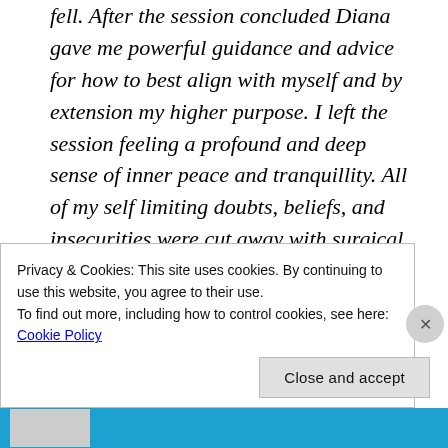fell. After the session concluded Diana gave me powerful guidance and advice for how to best align with myself and by extension my higher purpose. I left the session feeling a profound and deep sense of inner peace and tranquillity. All of my self limiting doubts, beliefs, and insecurities were cut away with surgical precision leaving
Privacy & Cookies: This site uses cookies. By continuing to use this website, you agree to their use.
To find out more, including how to control cookies, see here: Cookie Policy
Close and accept